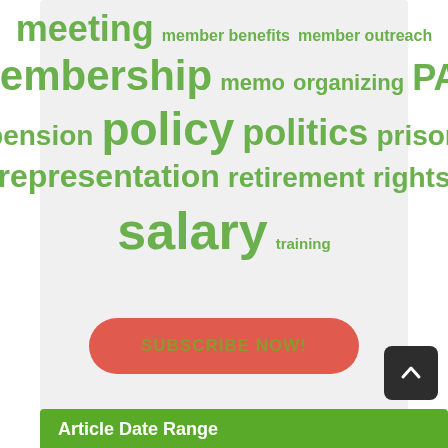[Figure (infographic): Tag cloud with words in various sizes in green on a light gray background. Words include: meeting, member benefits, member outreach, membership, memo, organizing, PAC, pension, policy, politics, prison, representation, retirement, rights, salary, training.]
SUBSCRIBE NOW!
Article Date Range